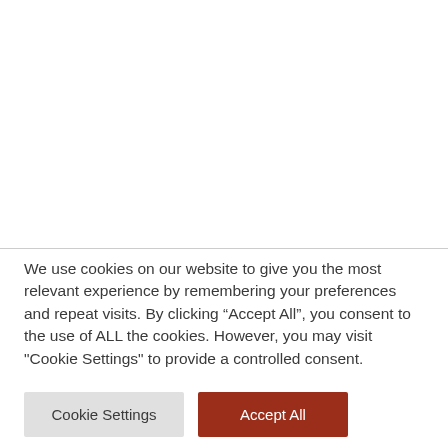We use cookies on our website to give you the most relevant experience by remembering your preferences and repeat visits. By clicking “Accept All”, you consent to the use of ALL the cookies. However, you may visit "Cookie Settings" to provide a controlled consent.
Cookie Settings
Accept All